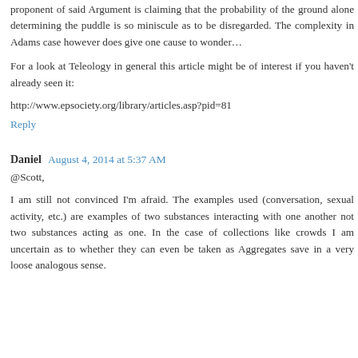proponent of said Argument is claiming that the probability of the ground alone determining the puddle is so miniscule as to be disregarded. The complexity in Adams case however does give one cause to wonder…
For a look at Teleology in general this article might be of interest if you haven't already seen it:
http://www.epsociety.org/library/articles.asp?pid=81
Reply
Daniel  August 4, 2014 at 5:37 AM
@Scott,
I am still not convinced I'm afraid. The examples used (conversation, sexual activity, etc.) are examples of two substances interacting with one another not two substances acting as one. In the case of collections like crowds I am uncertain as to whether they can even be taken as Aggregates save in a very loose analogous sense.